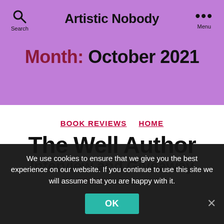Artistic Nobody
Month: October 2021
BOOK REVIEWS   HOME
The Well Author Interview and Giveaway
By ArtisticN... October 28, 2021
We use cookies to ensure that we give you the best experience on our website. If you continue to use this site we will assume that you are happy with it.